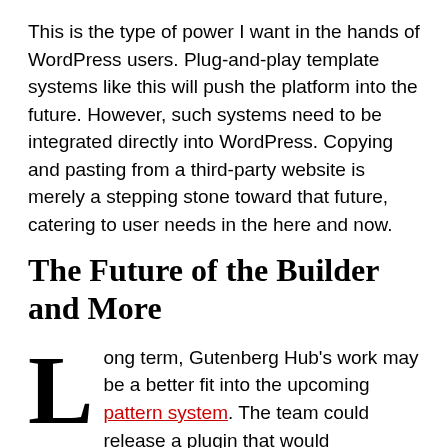This is the type of power I want in the hands of WordPress users. Plug-and-play template systems like this will push the platform into the future. However, such systems need to be integrated directly into WordPress. Copying and pasting from a third-party website is merely a stepping stone toward that future, catering to user needs in the here and now.
The Future of the Builder and More
Long term, Gutenberg Hub's work may be a better fit into the upcoming pattern system. The team could release a plugin that would integrate seamlessly into the block editor. That way,